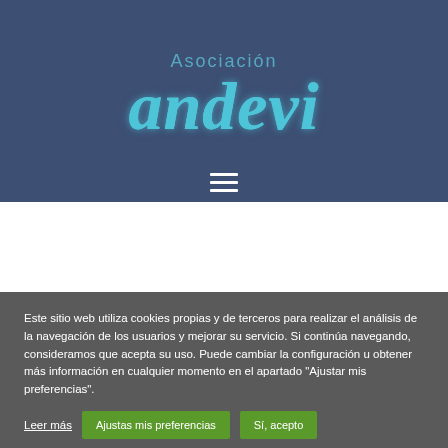[Figure (logo): Asociación andevi logo — dark navy blue background with 'Asociación' in light teal sans-serif text above the cursive/italic 'andevi' in sparkly teal large lettering]
[Figure (other): Hamburger menu icon (three white horizontal lines) centered on the dark navy header bar]
Este sitio web utiliza cookies propias y de terceros para realizar el análisis de la navegación de los usuarios y mejorar su servicio. Si continúa navegando, consideramos que acepta su uso. Puede cambiar la configuración u obtener más información en cualquier momento en el apartado "Ajustar mis preferencias".
Leer más
Ajustas mis preferencias
Sí, acepto